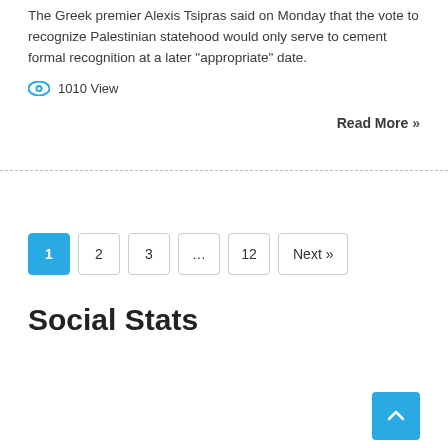The Greek premier Alexis Tsipras said on Monday that the vote to recognize Palestinian statehood would only serve to cement formal recognition at a later “appropriate” date.
1010 View
Read More »
1  2  3  …  12  Next »
Social Stats